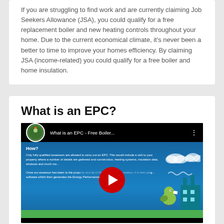If you are struggling to find work and are currently claiming Job Seekers Allowance (JSA), you could qualify for a free replacement boiler and new heating controls throughout your home. Due to the current economical climate, it's never been a better to time to improve your homes efficiency. By claiming JSA (income-related) you could qualify for a free boiler and home insulation.
What is an EPC?
[Figure (screenshot): Embedded YouTube video thumbnail showing 'What is an EPC - Free Boiler...' with a YouTube play button overlay on a blue background with animation-style graphics including clouds, a green bird, and a factory. The video content shows text about how fully qualified assessors carry out an EPC.]